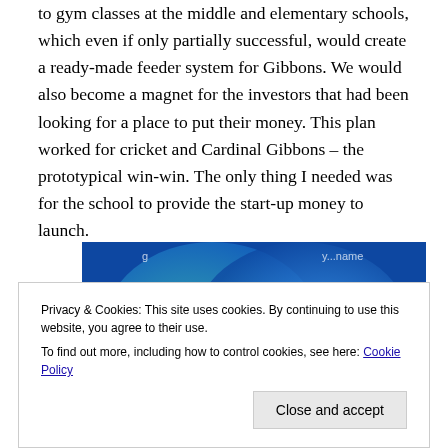to gym classes at the middle and elementary schools, which even if only partially successful, would create a ready-made feeder system for Gibbons. We would also become a magnet for the investors that had been looking for a place to put their money. This plan worked for cricket and Cardinal Gibbons – the prototypical win-win. The only thing I needed was for the school to provide the start-up money to launch.
[Figure (photo): Partial view of a blue Venn diagram or overlapping circles graphic with teal and blue gradient colors, text partially visible at top.]
Privacy & Cookies: This site uses cookies. By continuing to use this website, you agree to their use. To find out more, including how to control cookies, see here: Cookie Policy